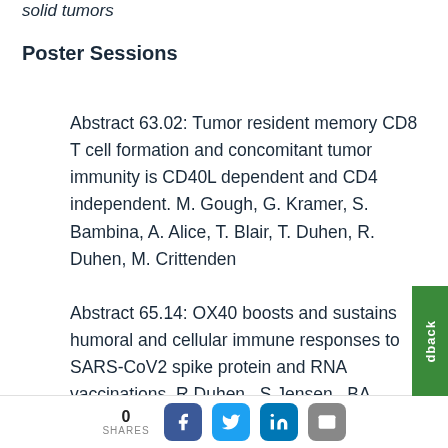solid tumors
Poster Sessions
Abstract 63.02: Tumor resident memory CD8 T cell formation and concomitant tumor immunity is CD40L dependent and CD4 independent. M. Gough, G. Kramer, S. Bambina, A. Alice, T. Blair, T. Duhen, R. Duhen, M. Crittenden
Abstract 65.14: OX40 boosts and sustains humoral and cellular immune responses to SARS-CoV2 spike protein and RNA vaccinations. R Duhen...S Jensen...BA
0 SHARES